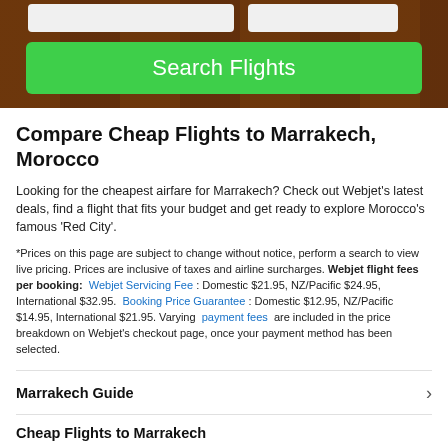[Figure (screenshot): Hero image of Marrakech with warm brown/orange tones showing a street scene, overlaid with a green 'Search Flights' button and two input fields at the top.]
Compare Cheap Flights to Marrakech, Morocco
Looking for the cheapest airfare for Marrakech? Check out Webjet's latest deals, find a flight that fits your budget and get ready to explore Morocco's famous 'Red City'.
*Prices on this page are subject to change without notice, perform a search to view live pricing. Prices are inclusive of taxes and airline surcharges. Webjet flight fees per booking: Webjet Servicing Fee: Domestic $21.95, NZ/Pacific $24.95, International $32.95. Booking Price Guarantee: Domestic $12.95, NZ/Pacific $14.95, International $21.95. Varying payment fees are included in the price breakdown on Webjet's checkout page, once your payment method has been selected.
Marrakech Guide
Cheap Flights to Marrakech